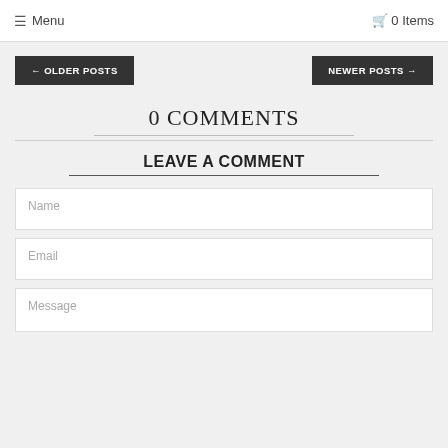☰ Menu   🛒 0 Items
← OLDER POSTS
NEWER POSTS →
0 COMMENTS
LEAVE A COMMENT
Name
Email
Message